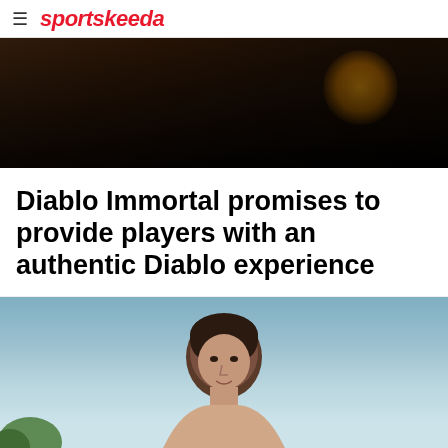sportskeeda
[Figure (photo): Dark cinematic image, appears to show a game scene with warm glowing orb/light on the right side against dark background]
Diablo Immortal promises to provide players with an authentic Diablo experience
[Figure (photo): A young man with dark hair outdoors, sky and green trees visible in the background]